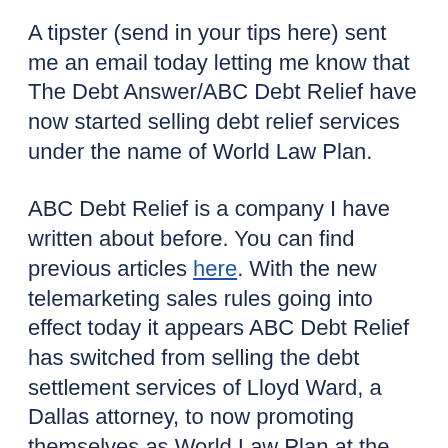A tipster (send in your tips here) sent me an email today letting me know that The Debt Answer/ABC Debt Relief have now started selling debt relief services under the name of World Law Plan.
ABC Debt Relief is a company I have written about before. You can find previous articles here. With the new telemarketing sales rules going into effect today it appears ABC Debt Relief has switched from selling the debt settlement services of Lloyd Ward, a Dallas attorney, to now promoting themselves as World Law Plan at the same business address of 12655 N. Central Expwy Suite 800, Dallas, Texas 75243 they have used before.
What's ironic is that it appears the World Law Plan site is using the same settlement examples and testimonials that ABC Debt Relief used to sell